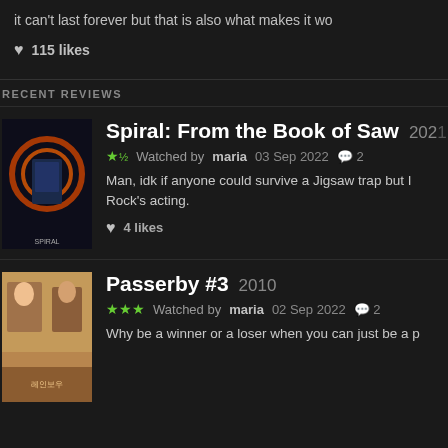it can't last forever but that is also what makes it wo
♥ 115 likes
RECENT REVIEWS
[Figure (photo): Movie poster for Spiral: From the Book of Saw showing a figure with orange circular light]
Spiral: From the Book of Saw 2021 ★½ Watched by maria 03 Sep 2022 💬 2 Man, idk if anyone could survive a Jigsaw trap but I Rock's acting. ♥ 4 likes
[Figure (photo): Movie poster for Passerby #3 showing two people with Korean text]
Passerby #3 2010 ★★★ Watched by maria 02 Sep 2022 💬 2 Why be a winner or a loser when you can just be a p